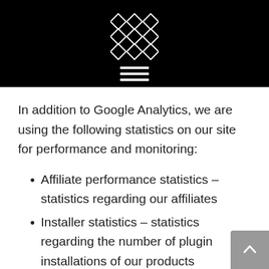[Figure (logo): Geometric diamond/star logo made of triangular grid pattern in white on black background, with hamburger menu icon below]
In addition to Google Analytics, we are using the following statistics on our site for performance and monitoring:
Affiliate performance statistics – statistics regarding our affiliates
Installer statistics – statistics regarding the number of plugin installations of our products (NxtBridge and SIGBRO) in clients, also includes the site info like